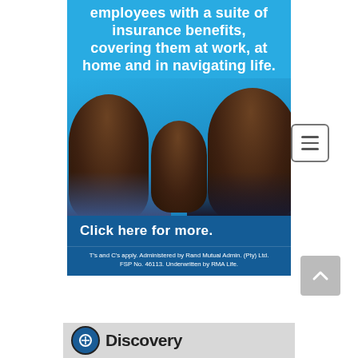[Figure (infographic): Insurance advertisement on blue background showing a family (man, woman, child) smiling together, with bold white text promoting employee insurance benefits covering them at work, at home and in navigating life. Includes a 'Click here for more.' button and disclaimer text.]
employees with a suite of insurance benefits, covering them at work, at home and in navigating life.
Click here for more.
T's and C's apply. Administered by Rand Mutual Admin. (Pty) Ltd. FSP No. 46113. Underwritten by RMA Life.